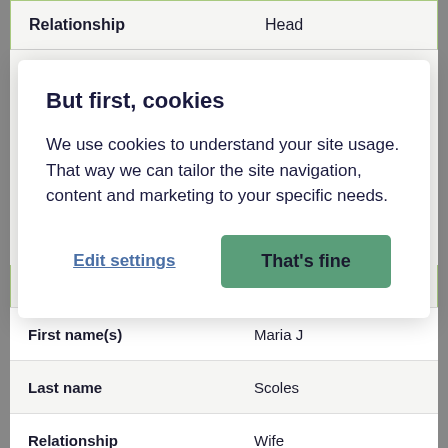| Field | Value |
| --- | --- |
| Relationship | Head |
[Figure (screenshot): Cookie consent overlay dialog with title 'But first, cookies', descriptive text about cookie usage, and two action buttons: 'Edit settings' (link style) and 'That's fine' (green button).]
But first, cookies
We use cookies to understand your site usage. That way we can tailor the site navigation, content and marketing to your specific needs.
Edit settings
That's fine
| Field | Value |
| --- | --- |
|  | England |
| First name(s) | Maria J |
| Last name | Scoles |
| Relationship | Wife |
| Marital status | Married |